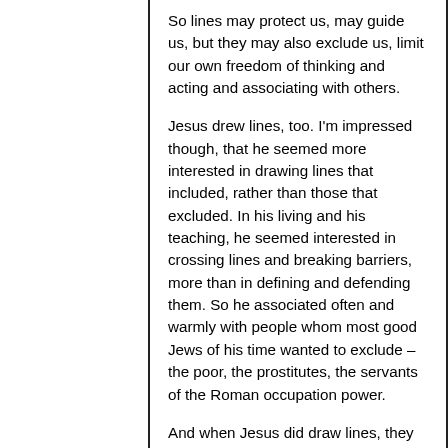So lines may protect us, may guide us, but they may also exclude us, limit our own freedom of thinking and acting and associating with others.
Jesus drew lines, too. I'm impressed though, that he seemed more interested in drawing lines that included, rather than those that excluded. In his living and his teaching, he seemed interested in crossing lines and breaking barriers, more than in defining and defending them. So he associated often and warmly with people whom most good Jews of his time wanted to exclude – the poor, the prostitutes, the servants of the Roman occupation power.
And when Jesus did draw lines, they tended to be to protect people from the moralists, the pious, and the rich. For instance, consider Matthew's reports of his harsh warnings to the Pharisees, as in Matthew 23.23. Or of course there's Jesus' sharp contrast between the widow giving her two pennies at the temple, and the wealthy donors showing off their generosity as they made their gifts.
So Jesus did cross some very important...